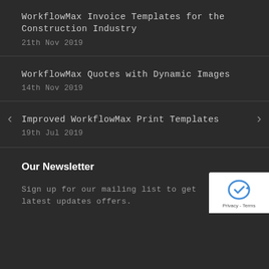WorkflowMax Invoice Templates for the Construction Industry
21th Nov 2019
WorkflowMax Quotes with Dynamic Images
14th Nov 2019
Improved WorkflowMax Print Templates
19th Jul 2019
Our Newsletter
Sign up for our mailing list to get latest updates offers.